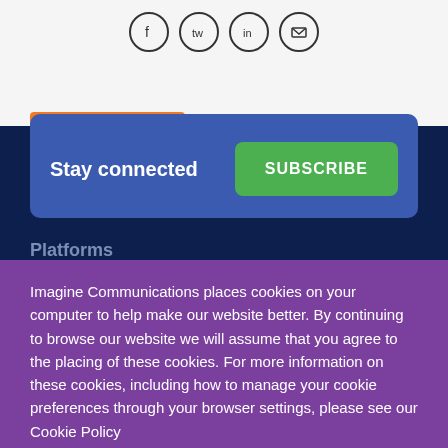[Figure (illustration): Social media icon circles (Facebook, Twitter, LinkedIn, Email) at the top of the page on a light gray background]
Stay connected
SUBSCRIBE
Platforms
Imagine Communications places cookies on your computer to help make our website better. By continuing to browse our website we will assume that you agree to the placing of these cookies. For more information on these cookies, including how to manage your cookie preferences through your browser settings, please see our Cookie Policy
OK I UNDERSTAND